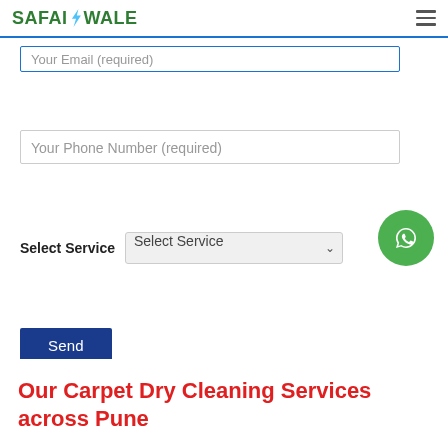SAFAIWALE
Your Email (required)
Your Phone Number (required)
Select Service
Send
Our Carpet Dry Cleaning Services across Pune